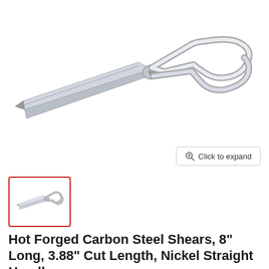[Figure (photo): Product photo of metal scissors/shears with nickel straight handle on white background. The scissors are oriented diagonally with blades pointing to the lower-left and the round metal handles to the upper-right.]
[Figure (screenshot): UI button with magnifying glass icon labeled 'Click to expand']
[Figure (photo): Thumbnail of the same scissors product photo, selected with a red border.]
Hot Forged Carbon Steel Shears, 8" Long, 3.88" Cut Length, Nickel Straight Handle